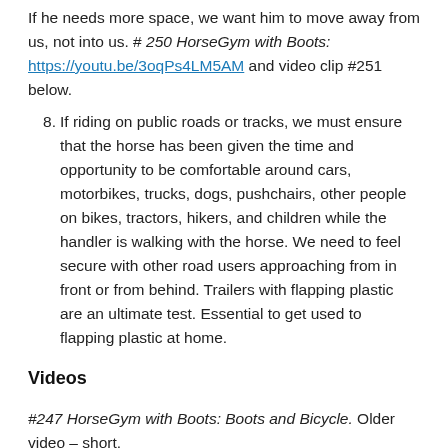If he needs more space, we want him to move away from us, not into us. # 250 HorseGym with Boots: https://youtu.be/3oqPs4LM5AM and video clip #251 below.
8. If riding on public roads or tracks, we must ensure that the horse has been given the time and opportunity to be comfortable around cars, motorbikes, trucks, dogs, pushchairs, other people on bikes, tractors, hikers, and children while the handler is walking with the horse. We need to feel secure with other road users approaching from in front or from behind. Trailers with flapping plastic are an ultimate test. Essential to get used to flapping plastic at home.
Videos
#247 HorseGym with Boots: Boots and Bicycle. Older video – short.